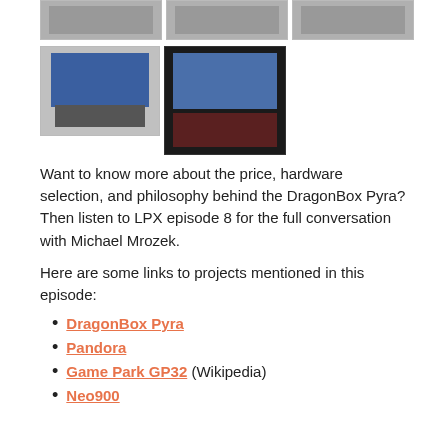[Figure (photo): Three photos of DragonBox Pyra device from top, shown in a row at top of page]
[Figure (photo): Two photos of DragonBox Pyra laptop device open showing screen and keyboard]
Want to know more about the price, hardware selection, and philosophy behind the DragonBox Pyra? Then listen to LPX episode 8 for the full conversation with Michael Mrozek.
Here are some links to projects mentioned in this episode:
DragonBox Pyra
Pandora
Game Park GP32 (Wikipedia)
Neo900